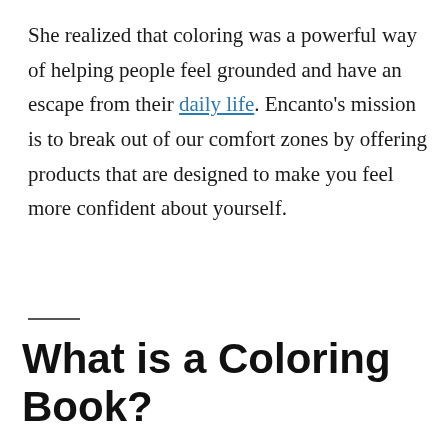She realized that coloring was a powerful way of helping people feel grounded and have an escape from their daily life. Encanto's mission is to break out of our comfort zones by offering products that are designed to make you feel more confident about yourself.
What is a Coloring Book?